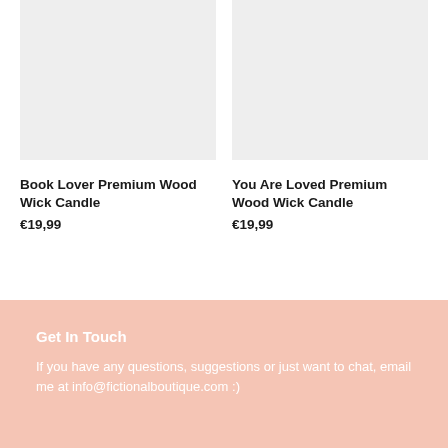[Figure (photo): Product image placeholder (light grey rectangle) for Book Lover Premium Wood Wick Candle]
Book Lover Premium Wood Wick Candle
€19,99
[Figure (photo): Product image placeholder (light grey rectangle) for You Are Loved Premium Wood Wick Candle]
You Are Loved Premium Wood Wick Candle
€19,99
Get In Touch
If you have any questions, suggestions or just want to chat, email me at info@fictionalboutique.com :)